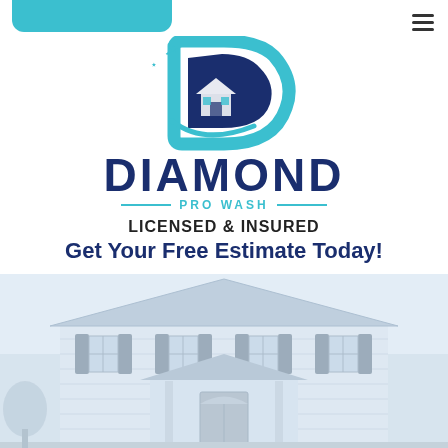[Figure (logo): Diamond Pro Wash logo with a D-shape in teal/blue containing sparkles and a house with solar panels]
DIAMOND
— PRO WASH —
LICENSED & INSURED
Get Your Free Estimate Today!
CLICK TO CALL: 205-378-9729
[Figure (photo): Large two-story white colonial-style house with gray shutters and a covered front porch, shown in a faded/light blue-tinted style]